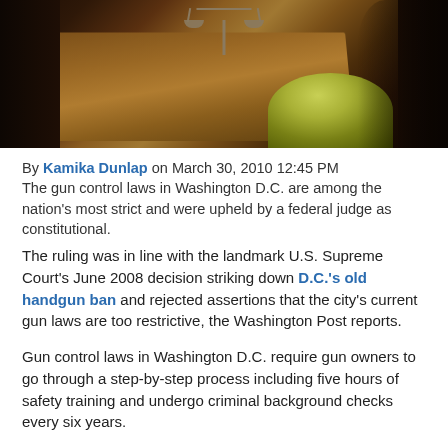[Figure (photo): Photo of a wooden courtroom desk with scales of justice figurine at top, and a green leather chair or bench visible at lower right]
By Kamika Dunlap on March 30, 2010 12:45 PM
The gun control laws in Washington D.C. are among the nation's most strict and were upheld by a federal judge as constitutional.
The ruling was in line with the landmark U.S. Supreme Court's June 2008 decision striking down D.C.'s old handgun ban and rejected assertions that the city's current gun laws are too restrictive, the Washington Post reports.
Gun control laws in Washington D.C. require gun owners to go through a step-by-step process including five hours of safety training and undergo criminal background checks every six years.